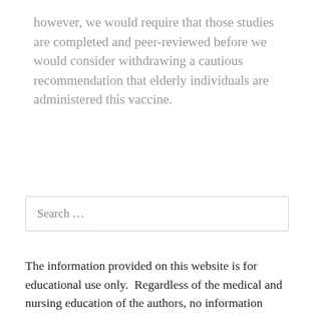however, we would require that those studies are completed and peer-reviewed before we would consider withdrawing a cautious recommendation that elderly individuals are administered this vaccine.
Search …
The information provided on this website is for educational use only.  Regardless of the medical and nursing education of the authors, no information provided should be taken as medical advice.  The editorial opinions and